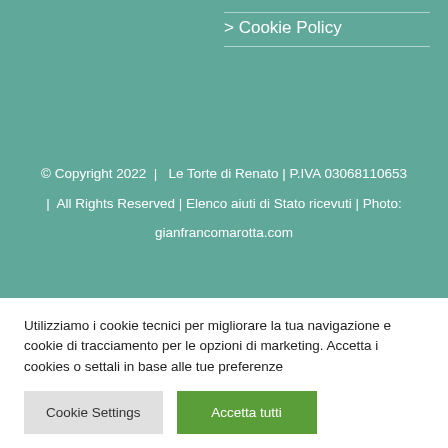> Cookie Policy
© Copyright 2022  |  Le Torte di Renato | P.IVA 03068110653  |  All Rights Reserved | Elenco aiuti di Stato ricevuti | Photo: gianfrancomarotta.com
Utilizziamo i cookie tecnici per migliorare la tua navigazione e cookie di tracciamento per le opzioni di marketing. Accetta i cookies o settali in base alle tue preferenze
Cookie Settings
Accetta tutti